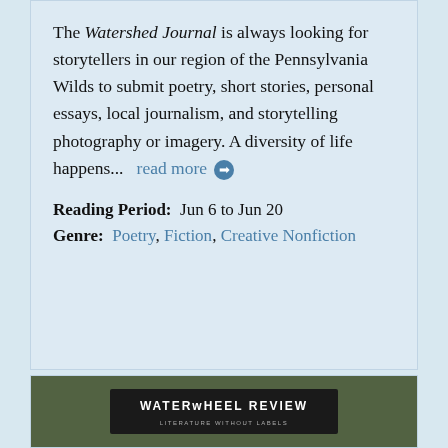The Watershed Journal is always looking for storytellers in our region of the Pennsylvania Wilds to submit poetry, short stories, personal essays, local journalism, and storytelling photography or imagery. A diversity of life happens...   read more ➔
Reading Period:  Jun 6 to Jun 20
Genre:  Poetry, Fiction, Creative Nonfiction
[Figure (photo): Waterwheel Review logo overlay on a photo of a wooden water wheel with foliage in background. Logo reads 'WATERWHEEL REVIEW - LITERATURE WITHOUT LABELS']